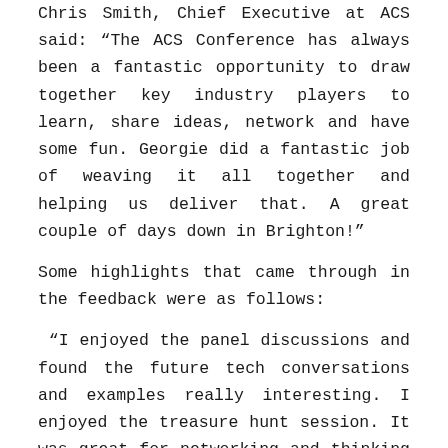Chris Smith, Chief Executive at ACS said: “The ACS Conference has always been a fantastic opportunity to draw together key industry players to learn, share ideas, network and have some fun. Georgie did a fantastic job of weaving it all together and helping us deliver that. A great couple of days down in Brighton!”
Some highlights that came through in the feedback were as follows:
“I enjoyed the panel discussions and found the future tech conversations and examples really interesting. I enjoyed the treasure hunt session. It was great for networking and thinking about how tech can be used in a more fun way.”
“The balance of networking and education was spot on.”
“The venue was superb, the dinner also. Really enjoyed it. The panel focused on event launches was worth attending